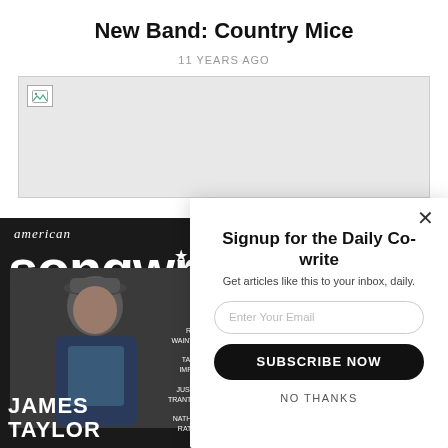New Band: Country Mice
11 YEARS AGO
[Figure (photo): Broken image placeholder — gray rectangle with broken image icon in top-left corner]
[Figure (photo): American Songwriter magazine cover featuring James Taylor on the cover, with text: American Songwriter, RUFUS WAINWRIGHT, TAM IMPALA, JUSTIN TRANTER, NATHAN RATELJA, JAMES TAYLOR]
[Figure (screenshot): Popup modal: 'Signup for the Daily Co-write — Get articles like this to your inbox, daily.' with email input field, SUBSCRIBE NOW button, and NO THANKS link. Close X button in top-right.]